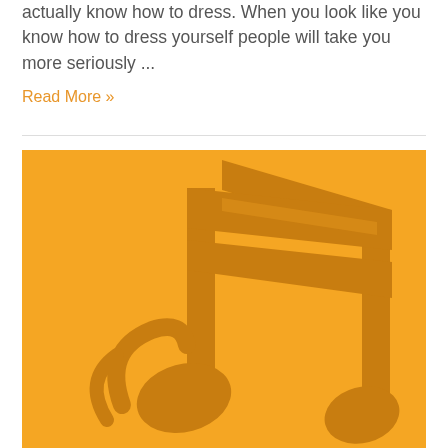actually know how to dress. When you look like you know how to dress yourself people will take you more seriously ...
Read More »
[Figure (illustration): Orange background illustration of a musical note (double eighth note / beamed quaver) in a darker orange/amber color, with a stylized angular beam and spiral note heads.]